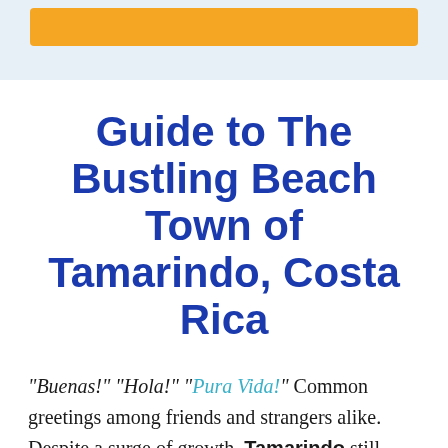[Figure (other): Top banner area with light blue background containing a yellow/orange horizontal bar]
Guide to The Bustling Beach Town of Tamarindo, Costa Rica
“Buenas!” “Hola!” “Pura Vida!” Common greetings among friends and strangers alike. Despite a surge of growth, Tamarindo still offers that “place where everybody knows your name,” small-town vibe.